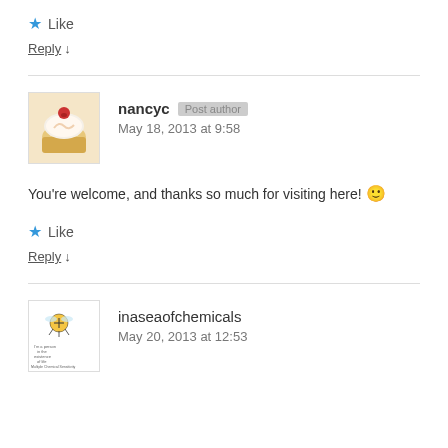★ Like
Reply ↓
nancyc Post author
May 18, 2013 at 9:58
You're welcome, and thanks so much for visiting here! 🙂
★ Like
Reply ↓
inaseaofchemicals
May 20, 2013 at 12:53